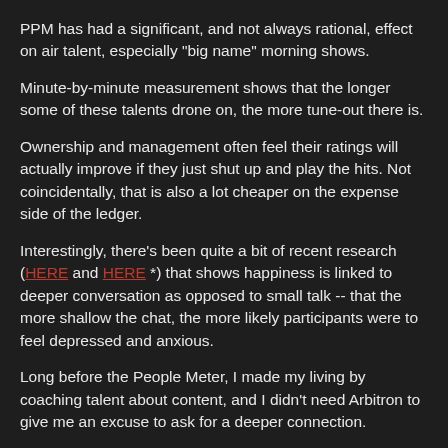PPM has had a significant, and not always rational, effect on air talent, especially "big name" morning shows.
Minute-by-minute measurement shows that the longer some of these talents drone on, the more tune-out there is.
Ownership and management often feel their ratings will actually improve if they just shut up and play the hits. Not coincidentally, that is also a lot cheaper on the expense side of the ledger.
Interestingly, there's been quite a bit of recent research (HERE and HERE *) that shows happiness is linked to deeper conversation as opposed to small talk -- that the more shallow the chat, the more likely participants were to feel depressed and anxious.
Long before the People Meter, I made my living by coaching talent about content, and I didn't need Arbitron to give me an excuse to ask for a deeper connection.
There are simply too many easy choices for listeners to make, especially when they're in their cars, to put up with what I call "happy talk" -- that sort of pointless back and forth between talent that only signals to me, and evidently to most listeners, that you have no idea how to get into, or out of, whatever it is you're